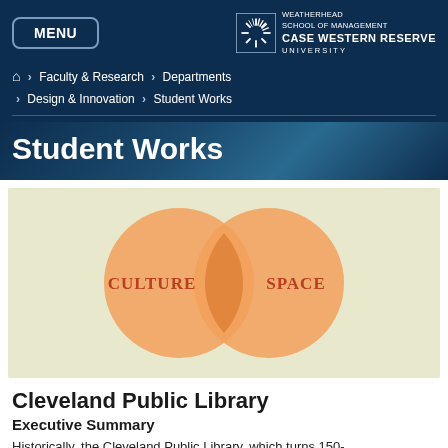MENU | WEATHERHEAD SCHOOL OF MANAGEMENT CASE WESTERN RESERVE UNIVERSITY
Home > Faculty & Research > Departments > Design & Innovation > Student Works
Student Works
[Figure (infographic): Venn diagram with two overlapping circles on a pale green background. Left circle labeled CULTURE, right circle labeled SPACE, both in orange with darker orange overlap region.]
Cleveland Public Library
Executive Summary
Historically, the Cleveland Public Library, which turns 150-